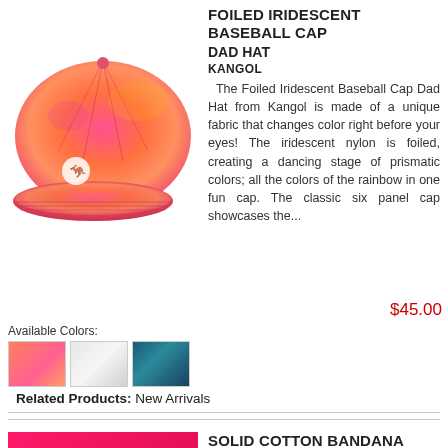[Figure (photo): Iridescent pink/orange foiled baseball cap with Kangol logo]
FOILED IRIDESCENT BASEBALL CAP
DAD HAT
KANGOL
The Foiled Iridescent Baseball Cap Dad Hat from Kangol is made of a unique fabric that changes color right before your eyes! The iridescent nylon is foiled, creating a dancing stage of prismatic colors; all the colors of the rainbow in one fun cap. The classic six panel cap showcases the...
$45.00
Available Colors:
[Figure (photo): Three color swatches: pink/orange, silver/white, blue/teal]
Related Products: New Arrivals
SOLID COTTON BANDANA
VILLAGE HAT SHOP
FINAL SALE  The bandana has been worn by almost everyone at some point in time. This simple
[Figure (photo): Hot pink/magenta solid cotton bandana]